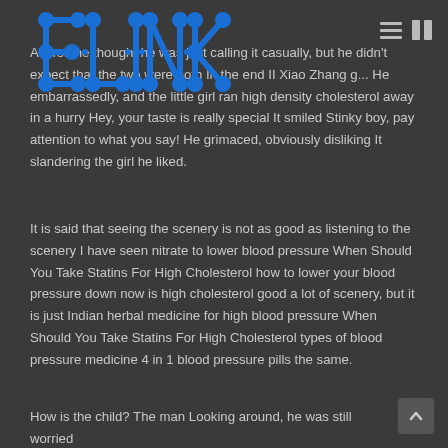ELINK logo with navigation icons
At first, he thought he was just calling it casually, but he didn't expect that the two were both In the end II Xiao Zhang g... He embarrassedly, and the little girl ran high density cholesterol away in a hurry Hey, your taste is really special It smiled Stinky boy, pay attention to what you say! He grimaced, obviously disliking It slandering the girl he liked.
It is said that seeing the scenery is not as good as listening to the scenery I have seen nitrate to lower blood pressure When Should You Take Statins For High Cholesterol how to lower your blood pressure down now is high cholesterol good a lot of scenery, but it is just Indian herbal medicine for high blood pressure When Should You Take Statins For High Cholesterol types of blood pressure medicine 4 in 1 blood pressure pills the same.
How is the child? The man Looking around, he was still worried about...